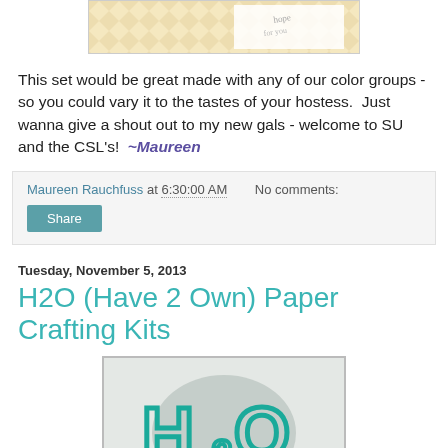[Figure (photo): Photo of craft/stationery items with chevron pattern background]
This set would be great made with any of our color groups - so you could vary it to the tastes of your hostess.  Just wanna give a shout out to my new gals - welcome to SU and the CSL's!  ~Maureen
Maureen Rauchfuss at 6:30:00 AM   No comments:
Share
Tuesday, November 5, 2013
H2O (Have 2 Own) Paper Crafting Kits
[Figure (photo): H2O Have 2 Own logo with teal H2O text and cursive 'have-2-own' handwriting on gray background]